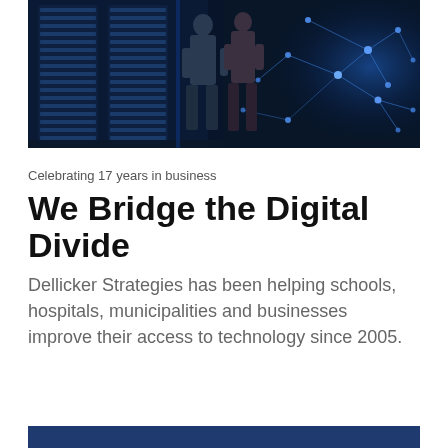[Figure (photo): Two people standing in a server room corridor with glowing blue network graphics on the right side]
Celebrating 17 years in business
We Bridge the Digital Divide
Dellicker Strategies has been helping schools, hospitals, municipalities and businesses improve their access to technology since 2005.